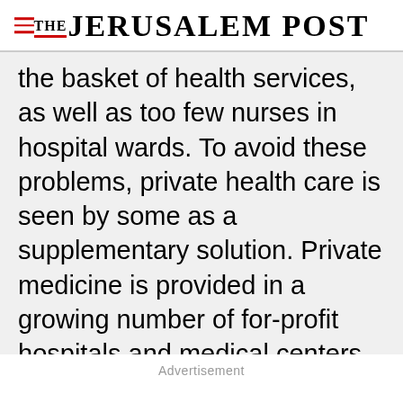THE JERUSALEM POST
the basket of health services, as well as too few nurses in hospital wards. To avoid these problems, private health care is seen by some as a supplementary solution. Private medicine is provided in a growing number of for-profit hospitals and medical centers. In addition, private care (called Sharap), in which you can choose the doctor you want for consultation or to perform surgery, is available in a limited number of voluntary hospitals (mostly in Jerusalem). It is
Advertisement